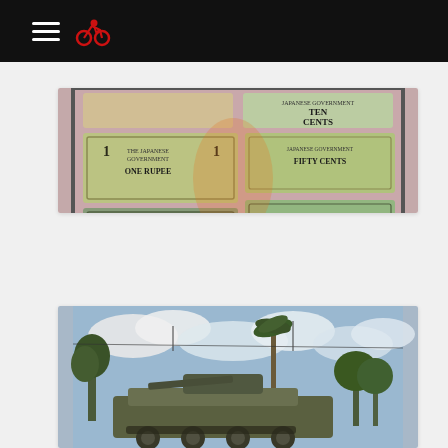Navigation header with hamburger menu and motorcycle logo
[Figure (photo): Display case showing Japanese Government currency notes from Burma: One Rupee, Five Rupees, Half Rupee, Ten Cents, Fifty Cents banknotes mounted on pink background]
Japanese rupees from Burma
[Figure (photo): Military tank or armored vehicle displayed outdoors with trees, a tall palm tree, power lines, and cloudy sky in background]